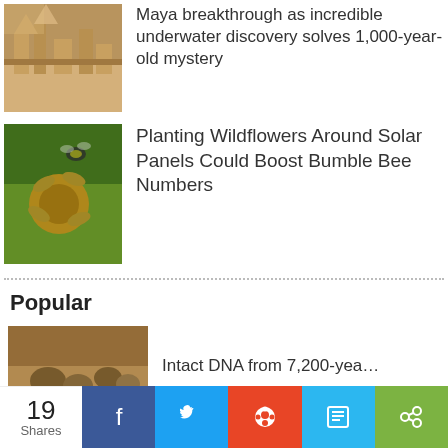[Figure (illustration): Thumbnail image of ancient ruins or archaeological site aerial view]
Maya breakthrough as incredible underwater discovery solves 1,000-year-old mystery
[Figure (photo): Thumbnail photo of a bee on a yellow flower/sunflower]
Planting Wildflowers Around Solar Panels Could Boost Bumble Bee Numbers
Popular
[Figure (photo): Thumbnail photo of ancient bones or skulls in soil]
Intact DNA from 7,200-yea…
19 Shares | Facebook | Twitter | Reddit | Digg | Share